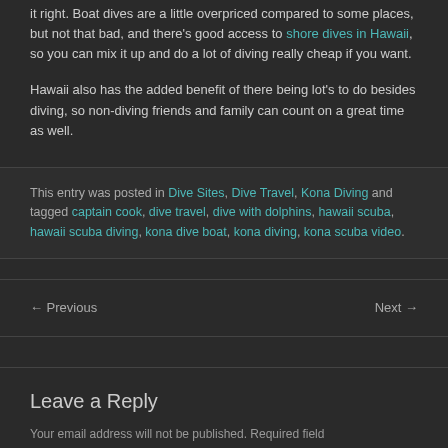it right. Boat dives are a little overpriced compared to some places, but not that bad, and there's good access to shore dives in Hawaii, so you can mix it up and do a lot of diving really cheap if you want.
Hawaii also has the added benefit of there being lot's to do besides diving, so non-diving friends and family can count on a great time as well.
This entry was posted in Dive Sites, Dive Travel, Kona Diving and tagged captain cook, dive travel, dive with dolphins, hawaii scuba, hawaii scuba diving, kona dive boat, kona diving, kona scuba video.
← Previous   Next →
Leave a Reply
Your email address will not be published. Required fields